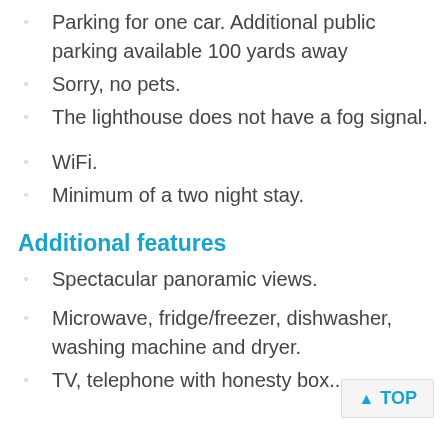Parking for one car. Additional public parking available 100 yards away
Sorry, no pets.
The lighthouse does not have a fog signal.
WiFi.
Minimum of a two night stay.
Additional features
Spectacular panoramic views.
Microwave, fridge/freezer, dishwasher, washing machine and dryer.
TV, telephone with honesty box...